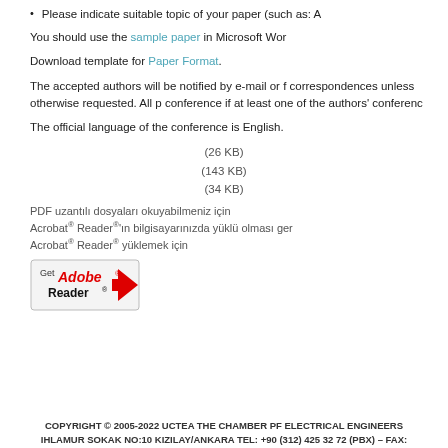Please indicate suitable topic of your paper (such as: A
You should use the sample paper in Microsoft Word
Download template for Paper Format.
The accepted authors will be notified by e-mail or f correspondences unless otherwise requested. All p conference if at least one of the authors' conferenc
The official language of the conference is English.
(26 KB)
(143 KB)
(34 KB)
PDF uzantılı dosyaları okuyabilmeniz için Acrobat® Reader®'ın bilgisayarınızda yüklü olması ger Acrobat® Reader® yüklemek için
[Figure (logo): Get Adobe Reader button with red arrow logo]
COPYRIGHT © 2005-2022 UCTEA THE CHAMBER PF ELECTRICAL ENGINEERS
IHLAMUR SOKAK NO:10 KIZILAY/ANKARA TEL: +90 (312) 425 32 72 (PBX) – FAX: